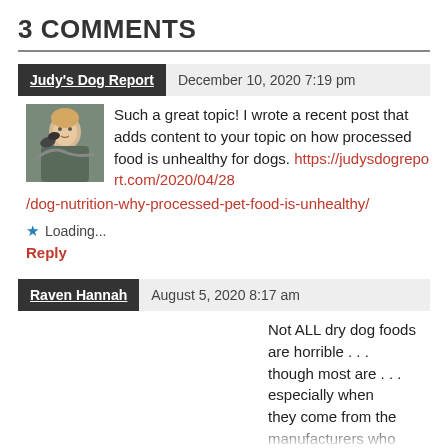3 COMMENTS
Judy's Dog Report  December 10, 2020 7:19 pm
[Figure (photo): Avatar photo of a woman with short blonde hair holding a small dark dog outdoors]
Such a great topic! I wrote a recent post that adds content to your topic on how processed food is unhealthy for dogs. https://judysdogreport.com/2020/04/28/dog-nutrition-why-processed-pet-food-is-unhealthy/
★ Loading...
Reply
Raven Hannah  August 5, 2020 8:17 am
Not ALL dry dog foods are horrible . . . though most are . . . especially when they come from the manufacturers who are more concerned with their bottom